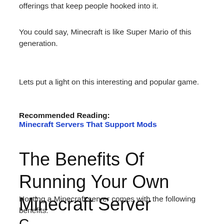offerings that keep people hooked into it.
You could say, Minecraft is like Super Mario of this generation.
Lets put a light on this interesting and popular game.
Recommended Reading:
Minecraft Servers That Support Mods
The Benefits Of Running Your Own Minecraft Server
Hosting a Minecraft server comes with the following benefits:
C...